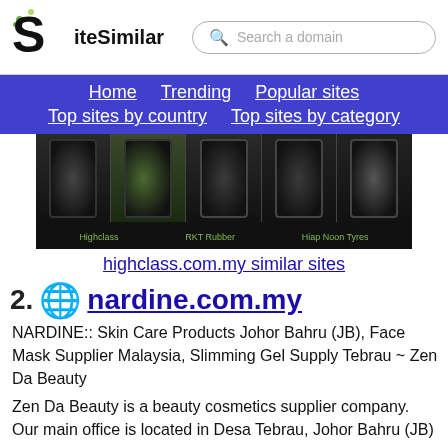SiteSimilar — Search a domain
Home | Trending | Popular sites | Top sites by country | Top sites by category
[Figure (screenshot): Screenshot of highclass.com.my showing tires/rubber products with labels Highclass, RKT Rubber, Hiap Noon Tyres]
highclass.com.my similar sites
52. nardine.com.my — NARDINE:: Skin Care Products Johor Bahru (JB), Face Mask Supplier Malaysia, Slimming Gel Supply Tebrau ~ Zen Da Beauty. Zen Da Beauty is a beauty cosmetics supplier company. Our main office is located in Desa Tebrau, Johor Bahru (JB)